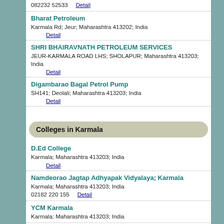082232 52533   Detail
Bharat Petroleum
Karmala Rd; Jeur; Maharashtra 413202; India
Detail
SHRI BHAIRAVNATH PETROLEUM SERVICES
JEUR-KARMALA ROAD LHS; SHOLAPUR; Maharashtra 413203; India
Detail
Digambarao Bagal Petrol Pump
SH141; Deolali; Maharashtra 413203; India
Detail
Colleges in Karmala
D.Ed College
Karmala; Maharashtra 413203; India
Detail
Namdeorao Jagtap Adhyapak Vidyalaya; Karmala
Karmala; Maharashtra 413203; India
02182 220 155   Detail
YCM Karmala
Karmala; Maharashtra 413203; India